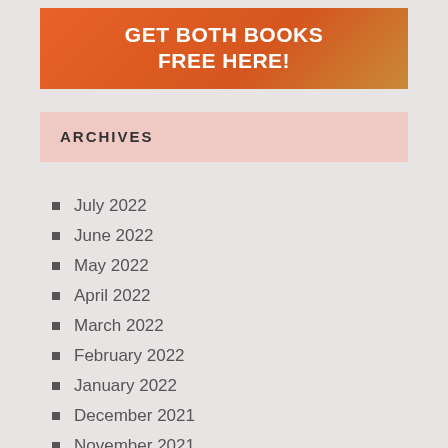[Figure (infographic): Orange gradient banner with white bold text reading GET BOTH BOOKS FREE HERE!]
ARCHIVES
July 2022
June 2022
May 2022
April 2022
March 2022
February 2022
January 2022
December 2021
November 2021